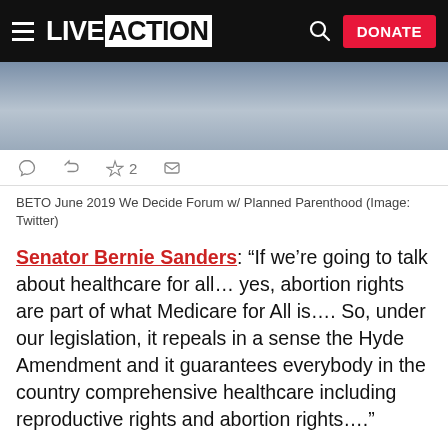LIVE ACTION — DONATE
[Figure (photo): Partial photo of a person speaking at a forum, cropped at top of page]
BETO June 2019 We Decide Forum w/ Planned Parenthood (Image: Twitter)
Senator Bernie Sanders: "If we're going to talk about healthcare for all… yes, abortion rights are part of what Medicare for All is…. So, under our legislation, it repeals in a sense the Hyde Amendment and it guarantees everybody in the country comprehensive healthcare including reproductive rights and abortion rights…."
"… And, I know about these so-called pregnancy crisis centers, um, the antidote to that is to make